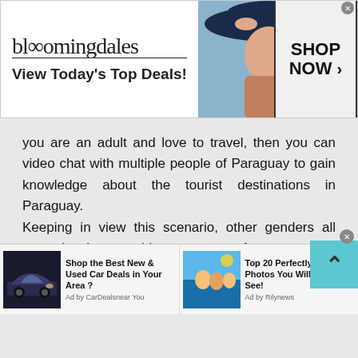[Figure (screenshot): Bloomingdale's advertisement banner: logo, 'View Today's Top Deals!' tagline, woman in hat photo, 'SHOP NOW >' button]
you are an adult and love to travel, then you can video chat with multiple people of Paraguay to gain knowledge about the tourist destinations in Paraguay.
Keeping in view this scenario, other genders all around the world gets to face extreme discrimination, mental and physical abuse by the locals. People regard gay or lesbian couple as a disgrace to the society. This is one of the reason why these people are socially isolated. Not only this
[Figure (screenshot): Bottom advertisement strip with two ads: 'Shop the Best New & Used Car Deals in Your Area?' by CarDealsnear You, and 'Top 20 Perfectly-Time Photos You Will Ever See!' by Rilynews]